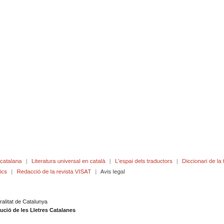[Figure (other): Gray top bar (partially visible navigation element)]
Traduccions e
Podeu consul... catalana en tr...
Prosa
Poesia
catalana  |  Literatura universal en català  |  L'espai dels traductors  |  Diccionari de la tradu... ics  |  Redacció de la revista VISAT  |  Avis legal
[Figure (logo): Generalitat de Catalunya / Institució de les Lletres Catalanes logo (text-based)]
[Figure (logo): Institut Ramon Llull logo with four vertical bars and text]
[Figure (logo): Circular emblem/seal (partially visible)]